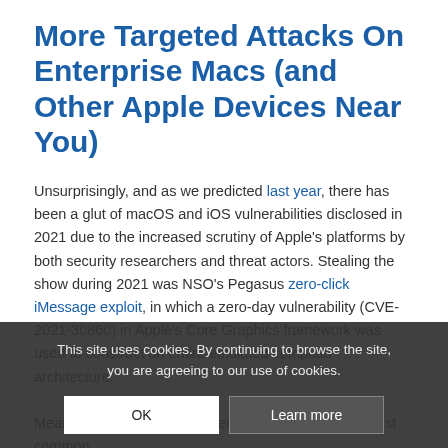More Targeted Attacks On Enterprise Macs (and Other Apple Devices Near You)
Unsurprisingly, and as we predicted last year, there has been a glut of macOS and iOS vulnerabilities disclosed in 2021 due to the increased scrutiny of Apple's platforms by both security researchers and threat actors. Stealing the show during 2021 was NSO's Pegasus zero-click iMessage exploit, in which a zero-day vulnerability (CVE-2021-30860) in Apple's Core Graphics framework was used to construct an entire emulated computer architecture.

Meanwhile, a... ...s have never been at the heart of most common...
This site uses cookies. By continuing to browse the site, you are agreeing to our use of cookies.